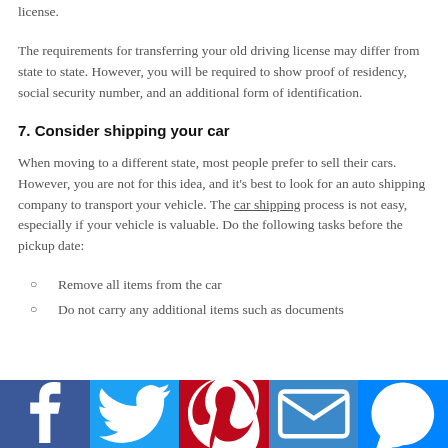license.
The requirements for transferring your old driving license may differ from state to state. However, you will be required to show proof of residency, social security number, and an additional form of identification.
7. Consider shipping your car
When moving to a different state, most people prefer to sell their cars. However, you are not for this idea, and it's best to look for an auto shipping company to transport your vehicle. The car shipping process is not easy, especially if your vehicle is valuable. Do the following tasks before the pickup date:
Remove all items from the car
Do not carry any additional items such as documents